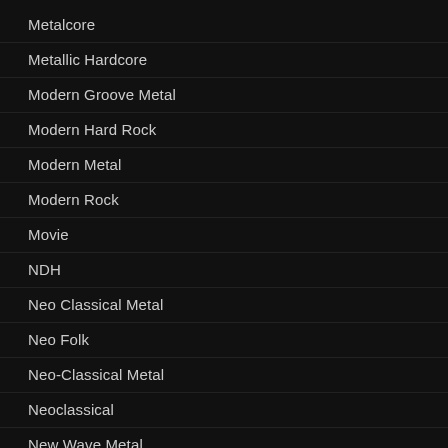Metalcore
Metallic Hardcore
Modern Groove Metal
Modern Hard Rock
Modern Metal
Modern Rock
Movie
NDH
Neo Classical Metal
Neo Folk
Neo-Classical Metal
Neoclassical
New Wave Metal